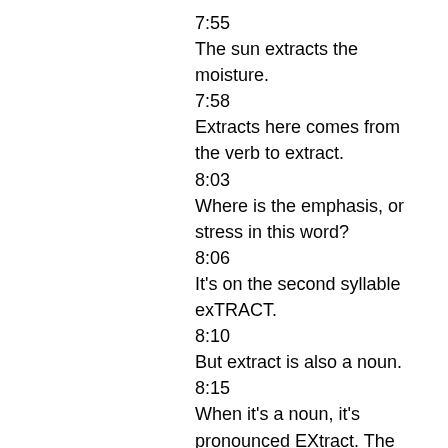7:55
The sun extracts the moisture.
7:58
Extracts here comes from the verb to extract.
8:03
Where is the emphasis, or stress in this word?
8:06
It's on the second syllable exTRACT.
8:10
But extract is also a noun.
8:15
When it's a noun, it's pronounced EXtract. The emphasis is now on the first syllable.
8:23
And this pattern of first syllable emphasis for the noun form, and